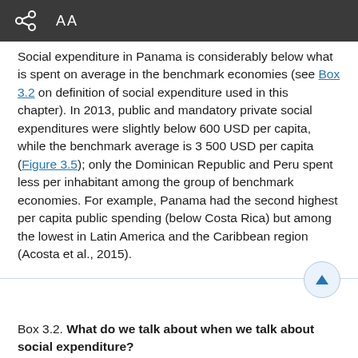AA
Social expenditure in Panama is considerably below what is spent on average in the benchmark economies (see Box 3.2 on definition of social expenditure used in this chapter). In 2013, public and mandatory private social expenditures were slightly below 600 USD per capita, while the benchmark average is 3 500 USD per capita (Figure 3.5); only the Dominican Republic and Peru spent less per inhabitant among the group of benchmark economies. For example, Panama had the second highest per capita public spending (below Costa Rica) but among the lowest in Latin America and the Caribbean region (Acosta et al., 2015).
Box 3.2. What do we talk about when we talk about social expenditure?